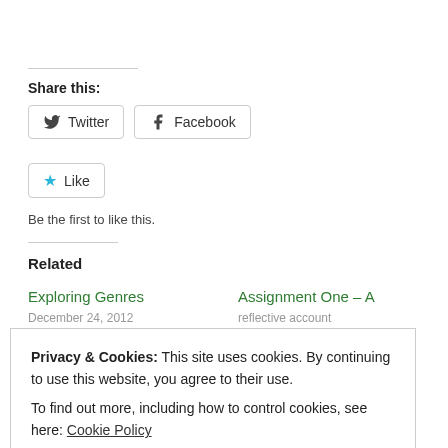Share this:
Twitter  Facebook
Like
Be the first to like this.
Related
Exploring Genres
Assignment One – A
December 24, 2012
reflective account
Privacy & Cookies: This site uses cookies. By continuing to use this website, you agree to their use.
To find out more, including how to control cookies, see here: Cookie Policy
Close and accept